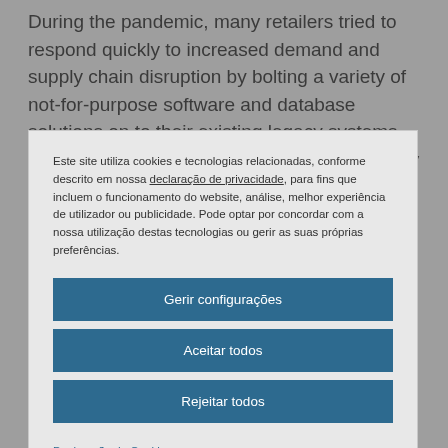During the pandemic, many retailers tried to respond quickly to increased demand and supply chain disruption by bolting a variety of not-for-purpose software and database solutions on to their existing legacy systems. This is a temporary fix that – if it hasn't already – will break down at some point.
Este site utiliza cookies e tecnologias relacionadas, conforme descrito em nossa declaração de privacidade, para fins que incluem o funcionamento do website, análise, melhor experiência de utilizador ou publicidade. Pode optar por concordar com a nossa utilização destas tecnologias ou gerir as suas próprias preferências.
Gerir configurações
Aceitar todos
Rejeitar todos
Declaração de Cookies